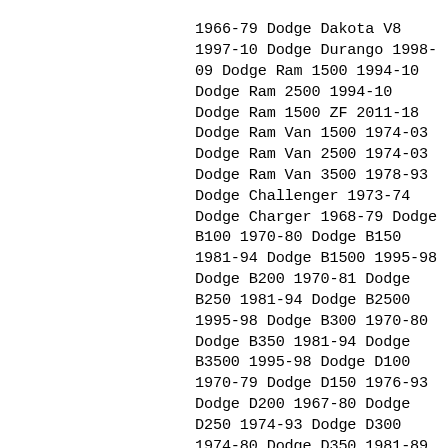1966-79 Dodge Dakota V8 1997-10 Dodge Durango 1998-09 Dodge Ram 1500 1994-10 Dodge Ram 2500 1994-10 Dodge Ram 1500 ZF 2011-18 Dodge Ram Van 1500 1974-03 Dodge Ram Van 2500 1974-03 Dodge Ram Van 3500 1978-93 Dodge Challenger 1973-74 Dodge Charger 1968-79 Dodge B100 1970-80 Dodge B150 1981-94 Dodge B1500 1995-98 Dodge B200 1970-81 Dodge B250 1981-94 Dodge B2500 1995-98 Dodge B300 1970-80 Dodge B350 1981-94 Dodge B3500 1995-98 Dodge D100 1970-79 Dodge D150 1976-93 Dodge D200 1967-80 Dodge D250 1974-93 Dodge D300 1974-80 Dodge D350 1981-89 Dodge W100 1986-89 Dodge W150 1977-93